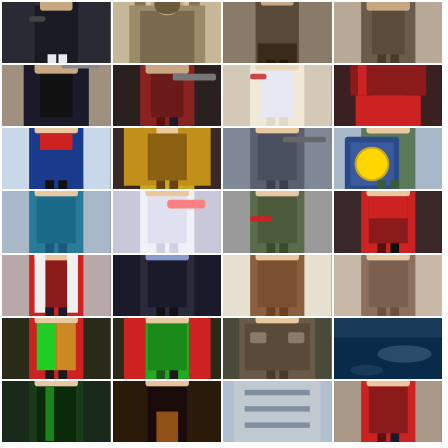[Figure (photo): Grid of cosplay photos arranged in 7 rows and 4 columns showing various costumed characters from anime, video games, and pop culture. Row 1: dark armored female cosplayer, creature/monster costume with mask, armored legs/boots close-up, female in brown outfit. Row 2: person in black with sword, female in red and black holding sword, blonde in white dress, red caped figure. Row 3: female in Captain America dress, female with golden wings and armor, armored male with gun, Link shield cosplayer. Row 4: female in teal dress, female in white dress with pink sword, male in military outfit with red arm, female in red corset. Row 5: male in red military jacket, blue-skinned female in black suit, female in beret with weapon, female in brown outfit. Row 6: colorful jester/harlequin, Robin costume, steampunk armored character, underwater whale photo. Row 7 (partial): dark figure in green, figure with orange lighting, indoor scene, red hooded figure.]